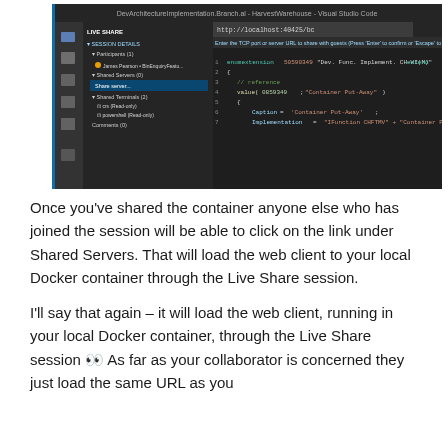[Figure (screenshot): VS Code screenshot showing Live Share session details panel on the left (participants, shared servers, shared terminals, comments) and a code editor on the right with AL code. A URL input bar shows 'http://localhost:40425/bc' with prompt text about entering TCP port or server URL to share with guests.]
Once you've shared the container anyone else who has joined the session will be able to click on the link under Shared Servers. That will load the web client to your local Docker container through the Live Share session.
I'll say that again – it will load the web client, running in your local Docker container, through the Live Share session 👀 As far as your collaborator is concerned they just load the same URL as you